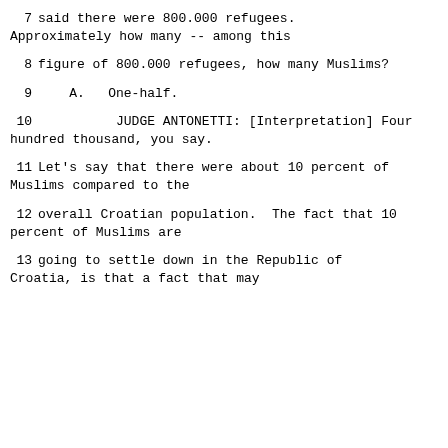7      said there were 800.000 refugees. Approximately how many -- among this
8      figure of 800.000 refugees, how many Muslims?
9         A.   One-half.
10               JUDGE ANTONETTI: [Interpretation] Four hundred thousand, you say.
11      Let's say that there were about 10 percent of Muslims compared to the
12      overall Croatian population.  The fact that 10 percent of Muslims are
13      going to settle down in the Republic of Croatia, is that a fact that may